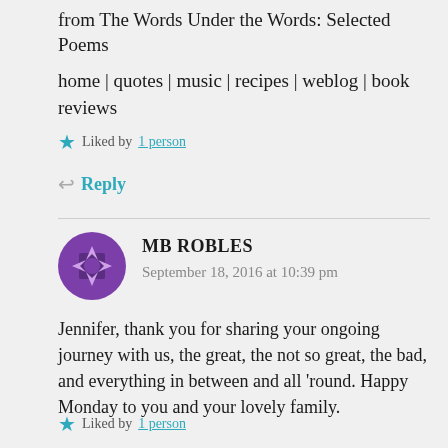from The Words Under the Words: Selected Poems
home | quotes | music | recipes | weblog | book reviews
★ Liked by 1 person
↩ Reply
MB ROBLES
September 18, 2016 at 10:39 pm
Jennifer, thank you for sharing your ongoing journey with us, the great, the not so great, the bad, and everything in between and all 'round. Happy Monday to you and your lovely family.
★ Liked by 1 person
↩ Reply